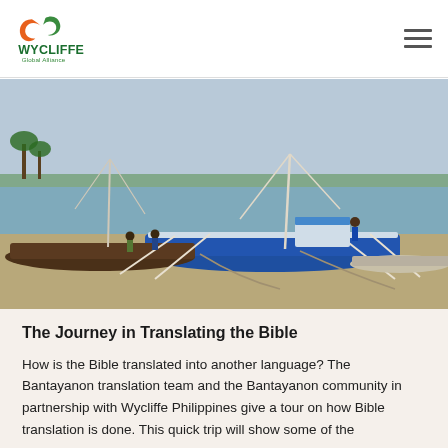Wycliffe Global Alliance
[Figure (photo): Outrigger fishing boats (bangka) moored on a sandy beach with shallow water and a distant shoreline with palm trees in the background. People can be seen on the boats.]
The Journey in Translating the Bible
How is the Bible translated into another language? The Bantayanon translation team and the Bantayanon community in partnership with Wycliffe Philippines give a tour on how Bible translation is done. This quick trip will show some of the